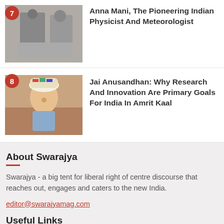[Figure (photo): Black and white photo of Anna Mani with scientific equipment, numbered 7]
Anna Mani, The Pioneering Indian Physicist And Meteorologist
[Figure (photo): Color photo of Indian Prime Minister speaking, numbered 8]
Jai Anusandhan: Why Research And Innovation Are Primary Goals For India In Amrit Kaal
About Swarajya
Swarajya - a big tent for liberal right of centre discourse that reaches out, engages and caters to the new India.
editor@swarajyamag.com
Useful Links